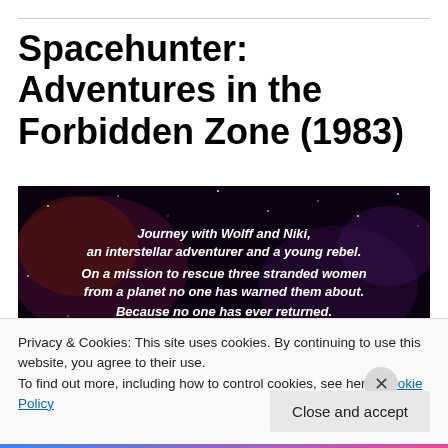Spacehunter: Adventures in the Forbidden Zone (1983)
[Figure (photo): Movie poster image for Spacehunter: Adventures in the Forbidden Zone showing a dark space background with text 'Journey with Wolff and Niki, an interstellar adventurer and a young rebel. On a mission to rescue three stranded women from a planet no one has warned them about. Because no one has ever returned.' and the stylized SPACEHUNTER logo text at the bottom with 'IN THE FORB...' subtitle]
Privacy & Cookies: This site uses cookies. By continuing to use this website, you agree to their use.
To find out more, including how to control cookies, see here: Cookie Policy